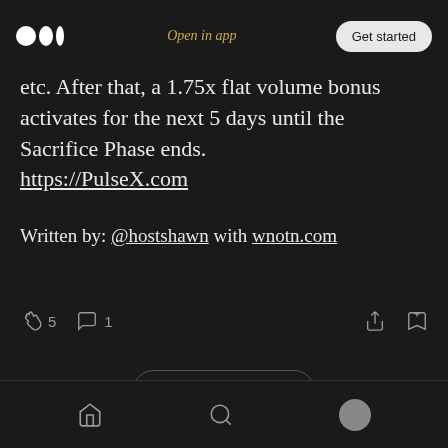Open in app | Get started
etc. After that, a 1.75x flat volume bonus activates for the next 5 days until the Sacrifice Phase ends.
https://PulseX.com
Written by: @hostshawn with wnotn.com
5 claps | 1 comment | share | save | home | search | profile